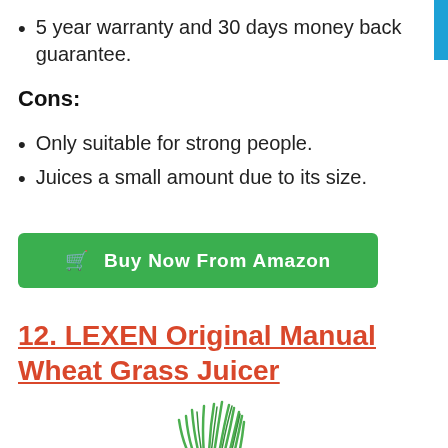5 year warranty and 30 days money back guarantee.
Cons:
Only suitable for strong people.
Juices a small amount due to its size.
Buy Now From Amazon
12. LEXEN Original Manual Wheat Grass Juicer
[Figure (photo): Wheat grass growing in a glass container, with a juicer partially visible below]